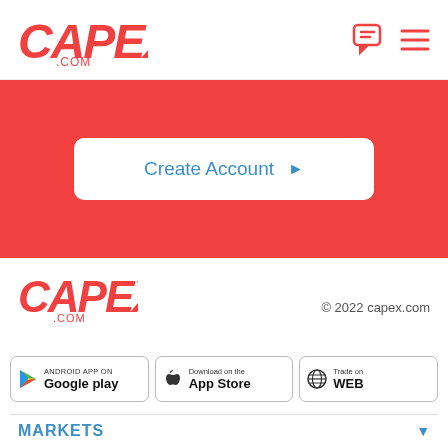CAPEX.COM
[Figure (logo): CAPEX.COM logo in red italic bold text with .COM subtitle, top left header]
[Figure (screenshot): Chat bubble and hamburger menu icons in red, top right header]
[Figure (screenshot): Red hero banner with white rounded rectangle Create Account button with blue text and arrow]
[Figure (logo): CAPEX.COM logo in red italic bold text with .COM subtitle, footer area]
© 2022 capex.com
[Figure (screenshot): Three app/platform download buttons: Android App on Google Play, Download on the App Store, Trade on WEB]
MARKETS